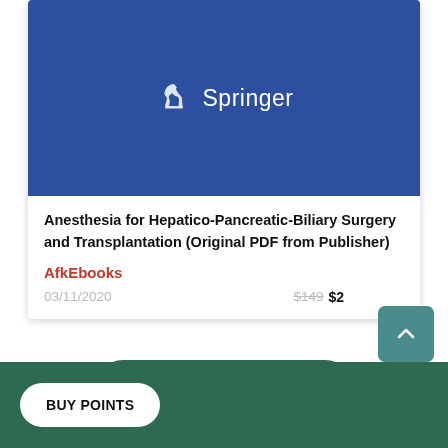[Figure (illustration): Book cover with Springer logo on dark blue background]
Anesthesia for Hepatico-Pancreatic-Biliary Surgery and Transplantation (Original PDF from Publisher)
AfkEbooks
03/11/2020   $149  $2
View more
BUY POINTS